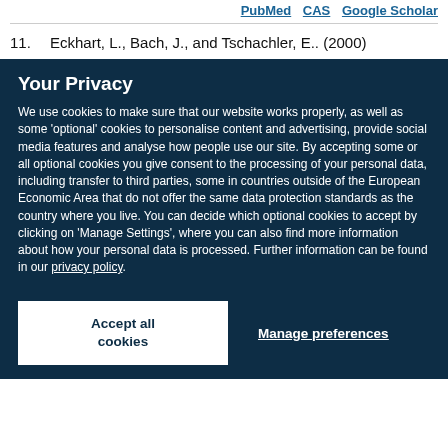PubMed   CAS   Google Scholar
11.  Eckhart, L., Bach, J., and Tschachler, E.. (2000)
Your Privacy
We use cookies to make sure that our website works properly, as well as some 'optional' cookies to personalise content and advertising, provide social media features and analyse how people use our site. By accepting some or all optional cookies you give consent to the processing of your personal data, including transfer to third parties, some in countries outside of the European Economic Area that do not offer the same data protection standards as the country where you live. You can decide which optional cookies to accept by clicking on 'Manage Settings', where you can also find more information about how your personal data is processed. Further information can be found in our privacy policy.
Accept all cookies
Manage preferences